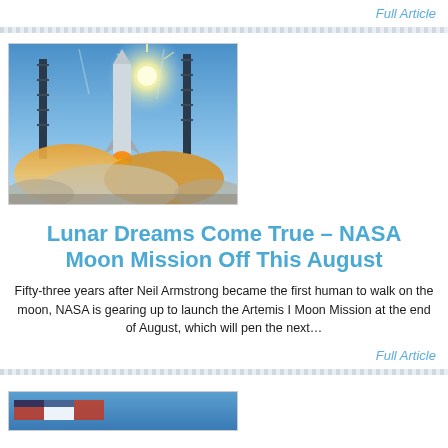Full Article
[Figure (photo): Rocket launch with bright sun flare and launch support towers, orange smoke clouds billowing below]
Lunar Dreams Come True – NASA Moon Mission Off This August
Fifty-three years after Neil Armstrong became the first human to walk on the moon, NASA is gearing up to launch the Artemis I Moon Mission at the end of August, which will pen the next…
Full Article
[Figure (photo): Partial photo at bottom of page, appears to show a flag or similar object with blue tones]